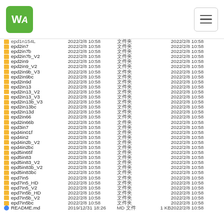[Figure (logo): Waveshare green logo with 'WA' text on green rounded square background, and hamburger menu icon on the right]
| Name | Date Modified | Type | Size | Date Created |
| --- | --- | --- | --- | --- |
| epd1n154L (partial) | 2022/2/8 10:58 | 文件夹 |  | 2022/2/8 10:58 |
| epd2in7 | 2022/2/8 10:58 | 文件夹 |  | 2022/2/8 10:58 |
| epd2in7b | 2022/2/8 10:58 | 文件夹 |  | 2022/2/8 10:58 |
| epd2in7b_V2 | 2022/2/8 10:58 | 文件夹 |  | 2022/2/8 10:58 |
| epd2in9 | 2022/2/8 10:58 | 文件夹 |  | 2022/2/8 10:58 |
| epd2in9_V2 | 2022/2/8 10:58 | 文件夹 |  | 2022/2/8 10:58 |
| epd2in9b_V3 | 2022/2/8 10:58 | 文件夹 |  | 2022/2/8 10:58 |
| epd2in9bc | 2022/2/8 10:58 | 文件夹 |  | 2022/2/8 10:58 |
| epd2in9d | 2022/2/8 10:58 | 文件夹 |  | 2022/2/8 10:58 |
| epd2in13 | 2022/2/8 10:58 | 文件夹 |  | 2022/2/8 10:58 |
| epd2in13_V2 | 2022/2/8 10:58 | 文件夹 |  | 2022/2/8 10:58 |
| epd2in13_V3 | 2022/2/8 10:58 | 文件夹 |  | 2022/2/8 10:58 |
| epd2in13b_V3 | 2022/2/8 10:58 | 文件夹 |  | 2022/2/8 10:58 |
| epd2in13bc | 2022/2/8 10:58 | 文件夹 |  | 2022/2/8 10:58 |
| epd2in13d | 2022/2/8 10:58 | 文件夹 |  | 2022/2/8 10:58 |
| epd2in66 | 2022/2/8 10:58 | 文件夹 |  | 2022/2/8 10:58 |
| epd2in66b | 2022/2/8 10:58 | 文件夹 |  | 2022/2/8 10:58 |
| epd3in7 | 2022/2/8 10:58 | 文件夹 |  | 2022/2/8 10:58 |
| epd4in01f | 2022/2/8 10:58 | 文件夹 |  | 2022/2/8 10:58 |
| epd4in2 | 2022/2/8 10:58 | 文件夹 |  | 2022/2/8 10:58 |
| epd4in2b_V2 | 2022/2/8 10:58 | 文件夹 |  | 2022/2/8 10:58 |
| epd4in2bc | 2022/2/8 10:58 | 文件夹 |  | 2022/2/8 10:58 |
| epd5in65f | 2022/2/8 10:58 | 文件夹 |  | 2022/2/8 10:58 |
| epd5in83 | 2022/2/8 10:58 | 文件夹 |  | 2022/2/8 10:58 |
| epd5in83_V2 | 2022/2/8 10:58 | 文件夹 |  | 2022/2/8 10:58 |
| epd5in83b_V2 | 2022/2/8 10:58 | 文件夹 |  | 2022/2/8 10:58 |
| epd5in83bc | 2022/2/8 10:58 | 文件夹 |  | 2022/2/8 10:58 |
| epd7in5 | 2022/2/8 10:58 | 文件夹 |  | 2022/2/8 10:58 |
| epd7in5_HD | 2022/2/8 10:58 | 文件夹 |  | 2022/2/8 10:58 |
| epd7in5_V2 | 2022/2/8 10:58 | 文件夹 |  | 2022/2/8 10:58 |
| epd7in5b_HD | 2022/2/8 10:58 | 文件夹 |  | 2022/2/8 10:58 |
| epd7in5b_V2 | 2022/2/8 10:58 | 文件夹 |  | 2022/2/8 10:58 |
| epd7in5bc | 2022/2/8 10:58 | 文件夹 |  | 2022/2/8 10:58 |
| README.md | 2019/12/31 18:26 | MD 文件 | 1 KB | 2022/2/8 10:58 |